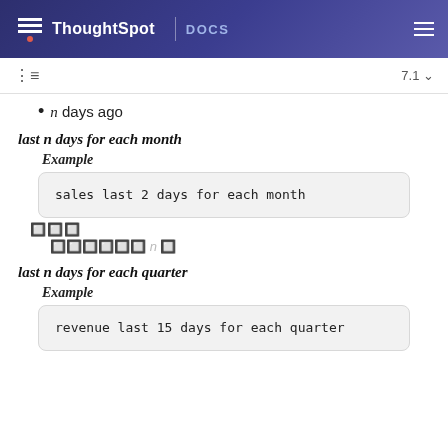ThoughtSpot | DOCS
n days ago
last n days for each month
Example
sales last 2 days for each month
last n days for each quarter
Example
revenue last 15 days for each quarter